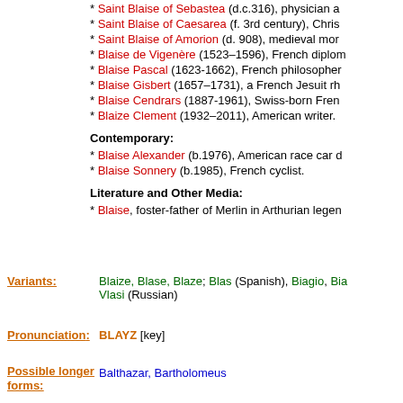* Saint Blaise of Sebastea (d.c.316), physician a...
* Saint Blaise of Caesarea (f. 3rd century), Chris...
* Saint Blaise of Amorion (d. 908), medieval mor...
* Blaise de Vigenère (1523–1596), French diplom...
* Blaise Pascal (1623-1662), French philosopher...
* Blaise Gisbert (1657–1731), a French Jesuit rh...
* Blaise Cendrars (1887-1961), Swiss-born Fren...
* Blaize Clement (1932–2011), American writer.
Contemporary:
* Blaise Alexander (b.1976), American race car d...
* Blaise Sonnery (b.1985), French cyclist.
Literature and Other Media:
* Blaise, foster-father of Merlin in Arthurian legen...
Variants: Blaize, Blase, Blaze; Blas (Spanish), Biagio, Bia... Vlasi (Russian)
Pronunciation: BLAYZ [key]
Possible longer forms: Balthazar, Bartholomeus